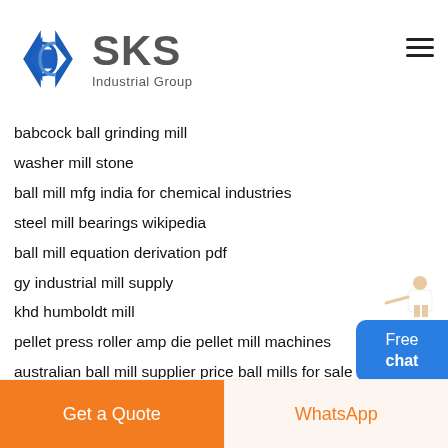[Figure (logo): SKS Industrial Group logo with diamond S icon in blue and grey text]
babcock ball grinding mill
washer mill stone
ball mill mfg india for chemical industries
steel mill bearings wikipedia
ball mill equation derivation pdf
gy industrial mill supply
khd humboldt mill
pellet press roller amp die pellet mill machines
australian ball mill supplier price ball mills for sale
banglade istel mill com
Free chat
Get a Quote
WhatsApp